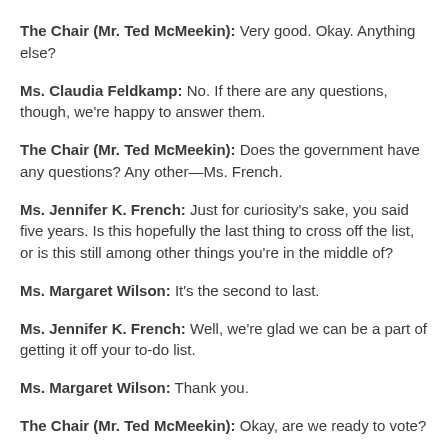The Chair (Mr. Ted McMeekin): Very good. Okay. Anything else?
Ms. Claudia Feldkamp: No. If there are any questions, though, we're happy to answer them.
The Chair (Mr. Ted McMeekin): Does the government have any questions? Any other—Ms. French.
Ms. Jennifer K. French: Just for curiosity's sake, you said five years. Is this hopefully the last thing to cross off the list, or is this still among other things you're in the middle of?
Ms. Margaret Wilson: It's the second to last.
Ms. Jennifer K. French: Well, we're glad we can be a part of getting it off your to-do list.
Ms. Margaret Wilson: Thank you.
The Chair (Mr. Ted McMeekin): Okay, are we ready to vote?